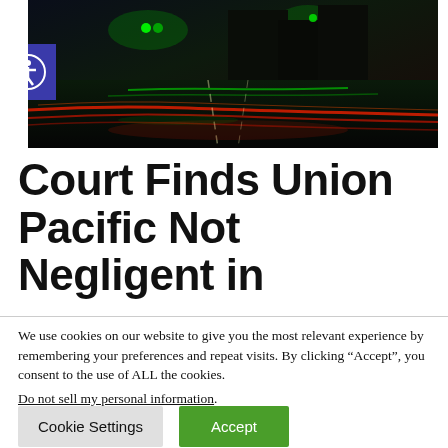[Figure (photo): Night city street photo showing motion-blurred car light trails in red and green on a wet road, with traffic lights and buildings in background]
Court Finds Union Pacific Not Negligent in
We use cookies on our website to give you the most relevant experience by remembering your preferences and repeat visits. By clicking “Accept”, you consent to the use of ALL the cookies. Do not sell my personal information.
Cookie Settings | Accept